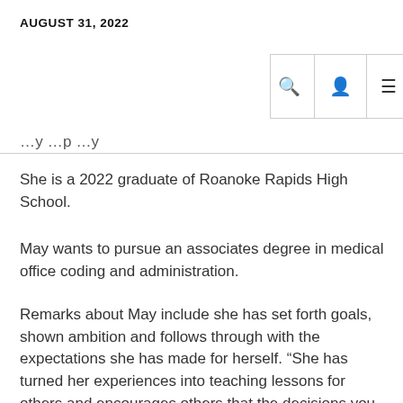AUGUST 31, 2022
[Figure (screenshot): Navigation bar with search icon, user icon, and hamburger menu icon]
…y …p …y
She is a 2022 graduate of Roanoke Rapids High School.
May wants to pursue an associates degree in medical office coding and administration.
Remarks about May include she has set forth goals, shown ambition and follows through with the expectations she has made for herself. “She has turned her experiences into teaching lessons for others and encourages others that the decisions you make today will follow you the rest of your life. Morgan has had many challenges and has overcome